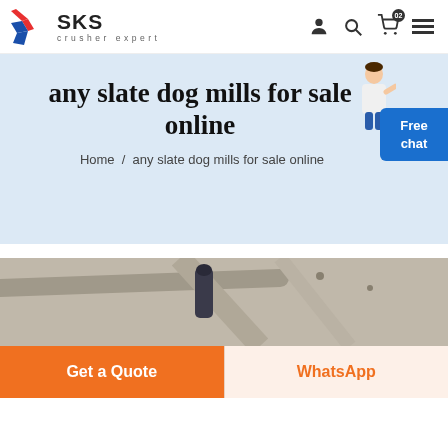[Figure (logo): SKS crusher expert logo with stylized red and blue flag icon]
any slate dog mills for sale online
Home / any slate dog mills for sale online
[Figure (photo): Industrial machinery photo, partial view of crusher equipment]
Get a Quote
WhatsApp